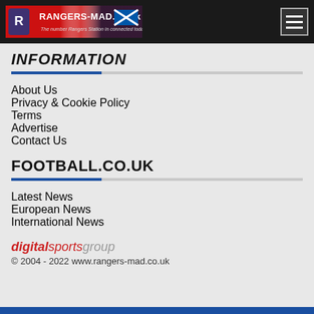[Figure (logo): Rangers-Mad.co.uk banner logo with Scottish flag and club crest]
INFORMATION
About Us
Privacy & Cookie Policy
Terms
Advertise
Contact Us
FOOTBALL.CO.UK
Latest News
European News
International News
[Figure (logo): digital sports group logo in red and grey italic text]
© 2004 - 2022 www.rangers-mad.co.uk